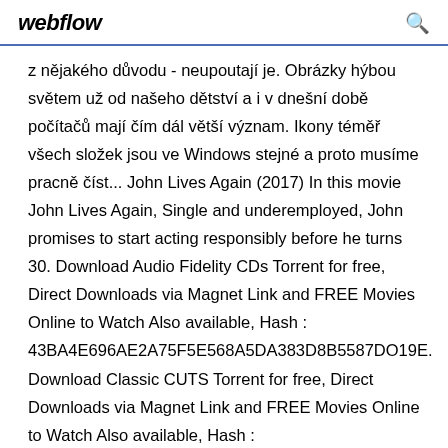webflow
z nějakého důvodu - neupoutají je. Obrázky hýbou světem už od našeho dětství a i v dnešní době počítačů mají čím dál větší význam. Ikony téměř všech složek jsou ve Windows stejné a proto musíme pracně číst... John Lives Again (2017) In this movie John Lives Again, Single and underemployed, John promises to start acting responsibly before he turns 30. Download Audio Fidelity CDs Torrent for free, Direct Downloads via Magnet Link and FREE Movies Online to Watch Also available, Hash : 43BA4E696AE2A75F5E568A5DA383D8B5587DO19E. Download Classic CUTS Torrent for free, Direct Downloads via Magnet Link and FREE Movies Online to Watch Also available, Hash :